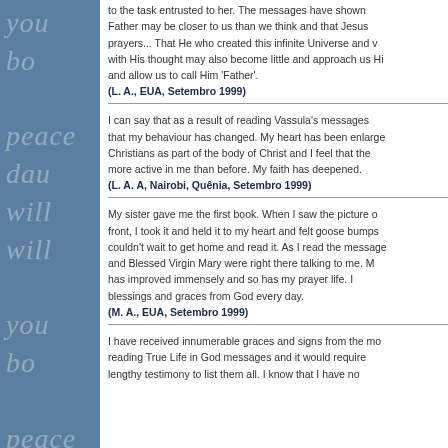to the task entrusted to her. The messages have shown that our Father may be closer to us than we think and that Jesus hears our prayers... That He who created this infinite Universe and worlds with His thought may also become little and approach us Himself and allow us to call Him 'Father'.
(L. A., EUA, Setembro 1999)
I can say that as a result of reading Vassula's messages I feel that my behaviour has changed. My heart has been enlarged to see Christians as part of the body of Christ and I feel that the Holy Spirit is more active in me than before. My faith has deepened.
(L. A. A, Nairobi, Quênia, Setembro 1999)
My sister gave me the first book. When I saw the picture of Jesus on the front, I took it and held it to my heart and felt goose bumps all over. I couldn't wait to get home and read it. As I read the messages Jesus and Blessed Virgin Mary were right there talking to me. My spiritual life has improved immensely and so has my prayer life. I now receive blessings and graces from God every day.
(M. A., EUA, Setembro 1999)
I have received innumerable graces and signs from the moment I started reading True Life in God messages and it would require a very lengthy testimony to list them all. I know that I have not...